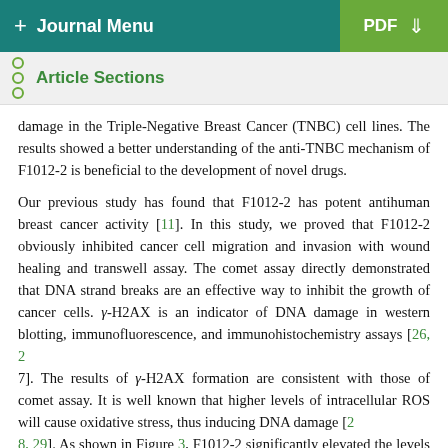+ Journal Menu    PDF ↓
Article Sections
damage in the Triple-Negative Breast Cancer (TNBC) cell lines. The results showed a better understanding of the anti-TNBC mechanism of F1012-2 is beneficial to the development of novel drugs.
Our previous study has found that F1012-2 has potent antihuman breast cancer activity [11]. In this study, we proved that F1012-2 obviously inhibited cancer cell migration and invasion with wound healing and transwell assay. The comet assay directly demonstrated that DNA strand breaks are an effective way to inhibit the growth of cancer cells. γ-H2AX is an indicator of DNA damage in western blotting, immunofluorescence, and immunohistochemistry assays [26, 27]. The results of γ-H2AX formation are consistent with those of comet assay. It is well known that higher levels of intracellular ROS will cause oxidative stress, thus inducing DNA damage [28, 29]. As shown in Figure 3, F1012-2 significantly elevated the levels of ROS in MDA-MB-231 and MDA-MB-468 cells.